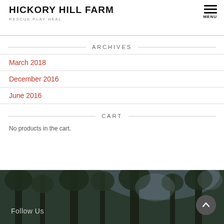HICKORY HILL FARM | RESCUE PLAY HEAL | MENU
ARCHIVES
March 2018
December 2016
June 2016
CART
No products in the cart.
Follow Us